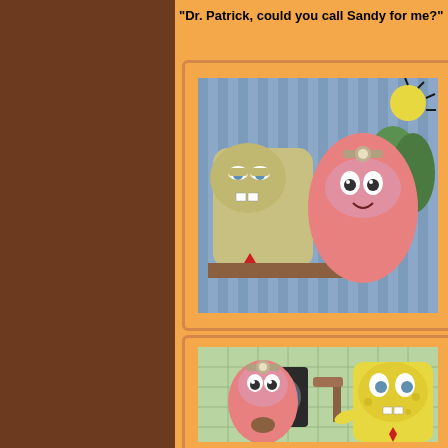"Dr. Patrick, could you call Sandy for me?"
[Figure (illustration): SpongeBob looking sick and wrinkled sitting in a chair, with Patrick wearing a doctor's mirror headband looking at him, in an interior scene with blue striped wallpaper and green rolls in background.]
[Figure (illustration): Patrick wearing doctor's mirror headband and SpongeBob standing in what appears to be a kitchen or room with green tiled walls, a black appliance, and a stool in the background.]